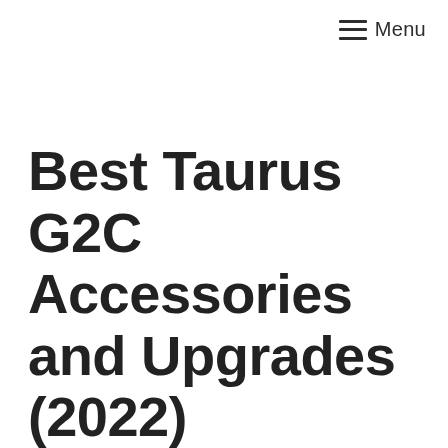Menu
Best Taurus G2C Accessories and Upgrades (2022)